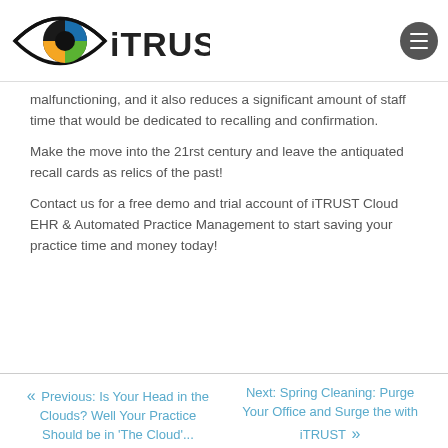[Figure (logo): iTRUST eye logo with colorful iris design and bold iTRUST text]
malfunctioning, and it also reduces a significant amount of staff time that would be dedicated to recalling and confirmation.
Make the move into the 21rst century and leave the antiquated recall cards as relics of the past!
Contact us for a free demo and trial account of iTRUST Cloud EHR & Automated Practice Management to start saving your practice time and money today!
« Previous: Is Your Head in the Clouds? Well Your Practice Should be in 'The Cloud'...
Next: Spring Cleaning: Purge Your Office and Surge the with iTRUST »